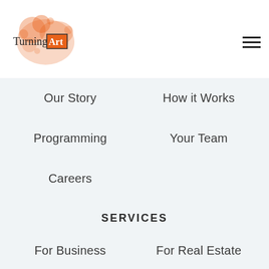[Figure (logo): TurningArt logo with orange splatter ink and black bordered box around 'Art' text]
Our Story
How it Works
Programming
Your Team
Careers
SERVICES
For Business
For Real Estate
For Designers
For Healthcare
For Hospitality
For Institutions
For Artists
Artist's Login